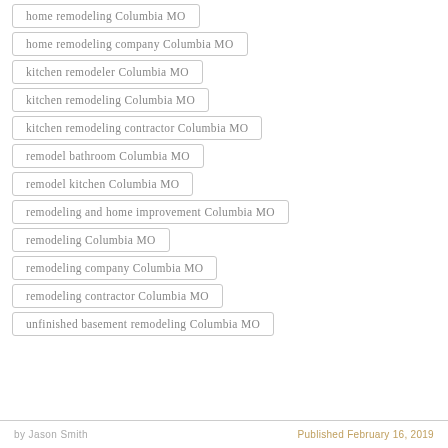home remodeling Columbia MO
home remodeling company Columbia MO
kitchen remodeler Columbia MO
kitchen remodeling Columbia MO
kitchen remodeling contractor Columbia MO
remodel bathroom Columbia MO
remodel kitchen Columbia MO
remodeling and home improvement Columbia MO
remodeling Columbia MO
remodeling company Columbia MO
remodeling contractor Columbia MO
unfinished basement remodeling Columbia MO
by Jason Smith   Published February 16, 2019